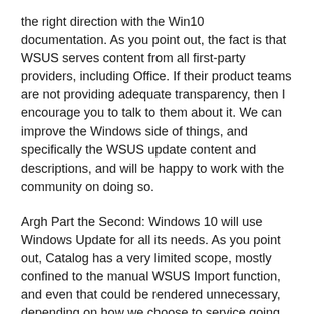the right direction with the Win10 documentation. As you point out, the fact is that WSUS serves content from all first-party providers, including Office. If their product teams are not providing adequate transparency, then I encourage you to talk to them about it. We can improve the Windows side of things, and specifically the WSUS update content and descriptions, and will be happy to work with the community on doing so.
Argh Part the Second: Windows 10 will use Windows Update for all its needs. As you point out, Catalog has a very limited scope, mostly confined to the manual WSUS Import function, and even that could be rendered unnecessary, depending on how we choose to service going forward. I'd echo your design principle of "break dependencies first," and I would guess that a different approach was taken for Catalog specifically because it is used so rarely these days.